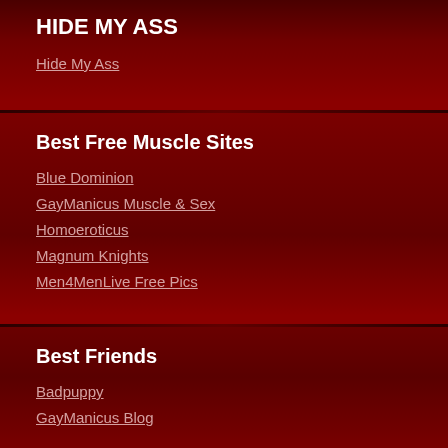HIDE MY ASS
Hide My Ass
Best Free Muscle Sites
Blue Dominion
GayManicus Muscle & Sex
Homoeroticus
Magnum Knights
Men4MenLive Free Pics
Best Friends
Badpuppy
GayManicus Blog